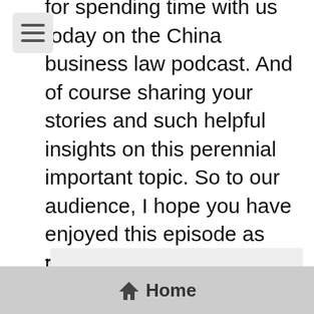for spending time with us today on the China business law podcast. And of course sharing your stories and such helpful insights on this perennial important topic. So to our audience, I hope you have enjoyed this episode as much as I have hosting it until the next episode.
Thank you again, Canton, TJ and bye for now, everyone. And. Continue to stay safe.
Home